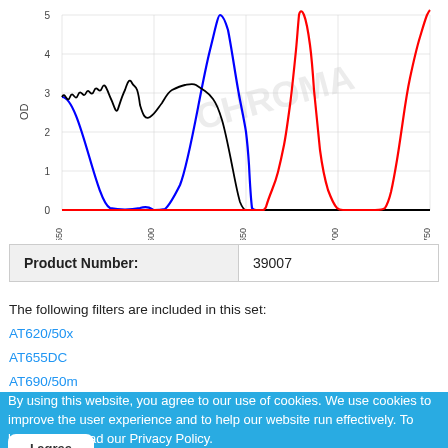[Figure (continuous-plot): Optical density (OD) spectral plot showing three curves: a black wavy line, a blue curve dipping around 600nm and rising around 640nm, and a red curve rising steeply around 660nm and again around 730nm. Y-axis labeled OD from 0 to 5. X-axis shows wavelengths from 550 to 750 nm.]
| Product Number: | 39007 |
The following filters are included in this set:
AT620/50x
AT655DC
AT690/50m
By using this website, you agree to our use of cookies. We use cookies to improve the user experience and to help our website run effectively. To learn more, read our Privacy Policy.